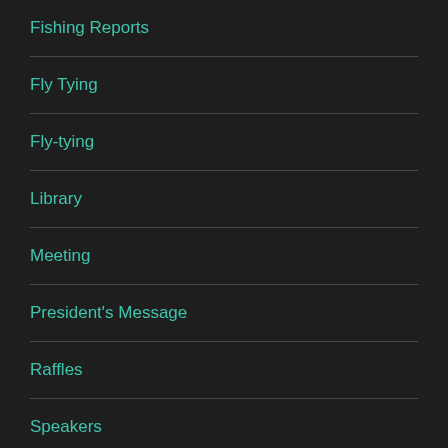Fishing Reports
Fly Tying
Fly-tying
Library
Meeting
President's Message
Raffles
Speakers
Uncategorized